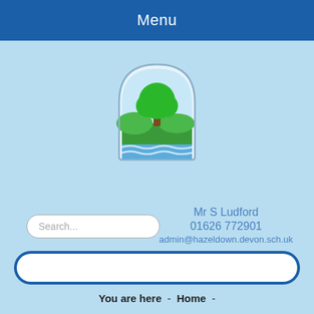Menu
[Figure (logo): School logo: an arched window-shaped icon with a green tree and rolling green hills with blue water/waves at the bottom]
Search...
Mr S Ludford
01626 772901
admin@hazeldown.devon.sch.uk
You are here  -  Home  -